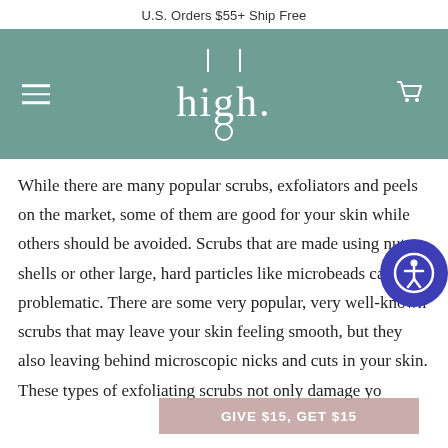U.S. Orders $55+ Ship Free
[Figure (logo): Navigation bar with teal/sage green background, hamburger menu icon on left, 'high.' logo in center in white serif font, shopping cart icon on right]
While there are many popular scrubs, exfoliators and peels on the market, some of them are good for your skin while others should be avoided. Scrubs that are made using nut shells or other large, hard particles like microbeads can be problematic. There are some very popular, very well-known scrubs that may leave your skin feeling smooth, but they also leaving behind microscopic nicks and cuts in your skin. These types of exfoliating scrubs not only damage yo...out the...